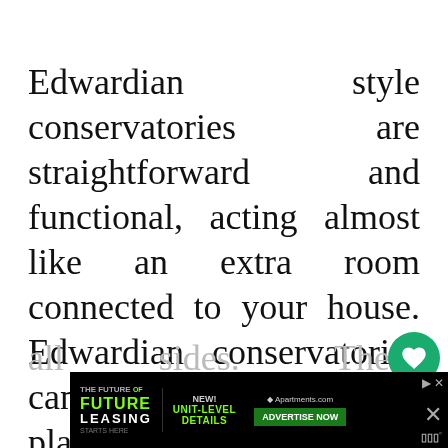Edwardian style conservatories are straightforward and functional, acting almost like an extra room connected to your house. Edwardian conservatories can thus be used as a playroom, dining room, storage space or just about anything else you can think of. These conservatories come in two styles, standard and hip, the latter providing a sloped roof on all sides. These conservatories are
[Figure (screenshot): Web page UI overlay with heart/favorite button (green circle with heart), share count badge showing 21, share button (grey circle with share icon), What's Next panel showing a conservatory thumbnail with text '5 Mistakes to Avoid When...' and green label 'WHAT'S NEXT', and an advertisement banner at the bottom for 'The Future of Leasing' from Apartments.com with 'Advertise Now' button.]